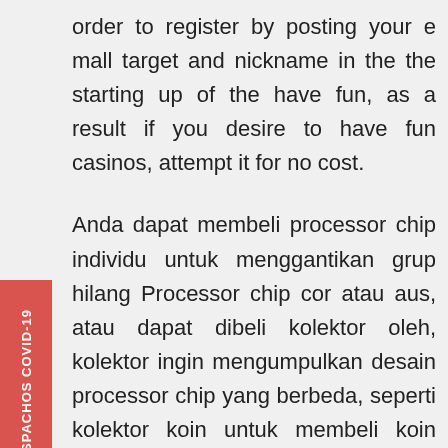order to register by posting your e mall target and nickname in the the starting up of the have fun, as a result if you desire to have fun casinos, attempt it for no cost.
Anda dapat membeli processor chip individu untuk menggantikan grup hilang Processor chip cor atau aus, atau dapat dibeli kolektor oleh, kolektor ingin mengumpulkan desain processor chip yang berbeda, seperti kolektor koin untuk membeli koin baru untuk mengumpulkan. This is the only place in the world where all casino lovers can get great bit of entertainment along with facilities and other exciting moments while playing casino. Online Internet casino is okay aware of the tendency towards on-line mobile